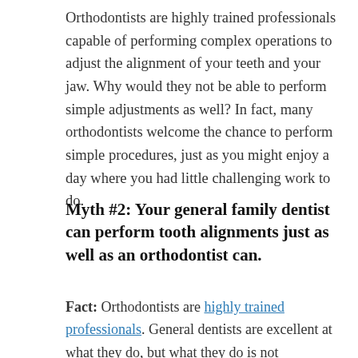Orthodontists are highly trained professionals capable of performing complex operations to adjust the alignment of your teeth and your jaw. Why would they not be able to perform simple adjustments as well? In fact, many orthodontists welcome the chance to perform simple procedures, just as you might enjoy a day where you had little challenging work to do.
Myth #2: Your general family dentist can perform tooth alignments just as well as an orthodontist can.
Fact: Orthodontists are highly trained professionals. General dentists are excellent at what they do, but what they do is not orthodontics. It would be like saying a general family doctor can perform heart surgery just as well as a heart surgeon.